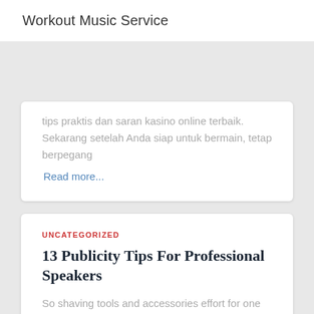Workout Music Service
tips praktis dan saran kasino online terbaik. Sekarang setelah Anda siap untuk bermain, tetap berpegang
Read more...
UNCATEGORIZED
13 Publicity Tips For Professional Speakers
So shaving tools and accessories effort for one may not work as well for the next. Hence the need for experimentation and practice to get the ideal shaving results. Some develop also inquired about buying
Read more...